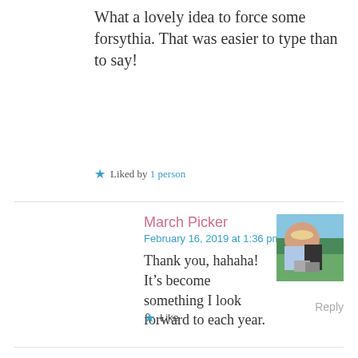What a lovely idea to force some forsythia. That was easier to type than to say!
Liked by 1 person
March Picker
February 16, 2019 at 1:36 pm
[Figure (photo): Small avatar photo of two people standing in a flower field]
Thank you, hahaha! It’s become something I look forward to each year.
Reply
Like